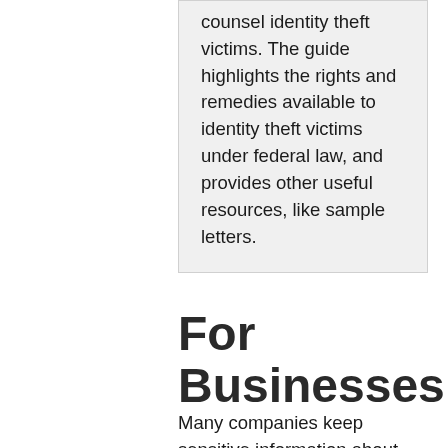counsel identity theft victims. The guide highlights the rights and remedies available to identity theft victims under federal law, and provides other useful resources, like sample letters.
For Businesses
Many companies keep sensitive information about customers or